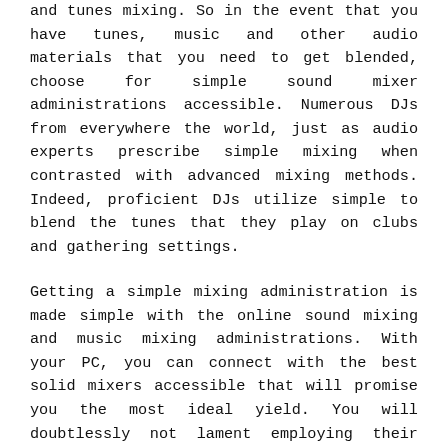and tunes mixing. So in the event that you have tunes, music and other audio materials that you need to get blended, choose for simple sound mixer administrations accessible. Numerous DJs from everywhere the world, just as audio experts prescribe simple mixing when contrasted with advanced mixing methods. Indeed, proficient DJs utilize simple to blend the tunes that they play on clubs and gathering settings.
Getting a simple mixing administration is made simple with the online sound mixing and music mixing administrations. With your PC, you can connect with the best solid mixers accessible that will promise you the most ideal yield. You will doubtlessly not lament employing their administrations. These organizations have a long foundation in the mesas de mezclas hercules industry and are very much prepared to crush out the most ideal outcomes. With the